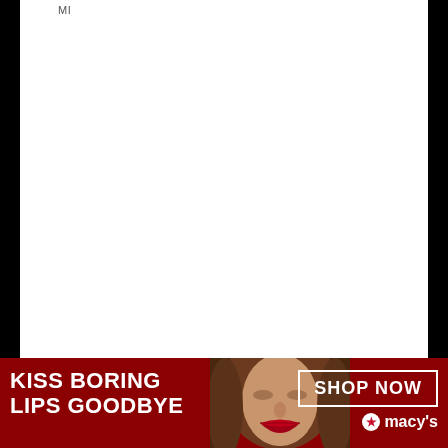MI
[Figure (photo): Macy's advertisement banner with a woman with red lips, text 'KISS BORING LIPS GOODBYE', 'SHOP NOW' button, and Macy's star logo on a dark red background]